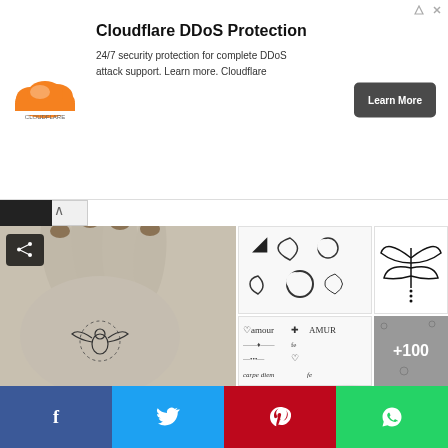[Figure (screenshot): Cloudflare DDoS Protection advertisement banner with Cloudflare logo, headline, description text, and Learn More button]
Cloudflare DDoS Protection
24/7 security protection for complete DDoS attack support. Learn more. Cloudflare
[Figure (photo): Hand with tattoo of a bird with wings and a dotted halo circle, photographed close-up with manicured nails]
[Figure (illustration): Grid of moon/crescent tattoo design options in various styles]
[Figure (illustration): Minimalist dragonfly or bird with wings tattoo design in black line art]
[Figure (illustration): Grid of script/text tattoo designs including 'amour', 'carpe diem', and other words with decorative elements]
[Figure (screenshot): Gray thumbnail showing +100 more tattoo images overlay]
[Figure (photo): Shoulder/arm photo for tattoo placement reference, showing a small dot tattoo]
[Figure (screenshot): Menu button (hamburger icon) in white circle]
[Figure (screenshot): Social sharing bar with Facebook, Twitter, Pinterest, and WhatsApp buttons]